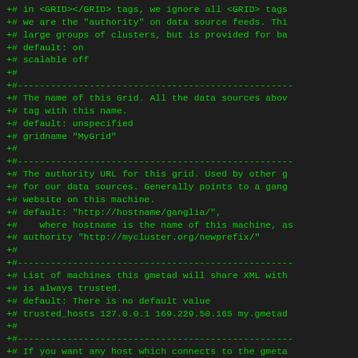+# in <GRID></GRID> tags, we ignore all <GRID> tags
+# we are the "authority" on data source feeds. Thi
+# large groups of clusters, but is provided for ba
+# default: on
+# scalable off
+#
+#--------------------------------------------------
+# The name of this Grid. All the data sources abov
+# tag with this name.
+# default: unspecified
+# gridname "MyGrid"
+#
+#--------------------------------------------------
+# The authority URL for this grid. Used by other g
+# for our data sources. Generally points to a gang
+# website on this machine.
+# default: "http://hostname/ganglia/",
+#    where hostname is the name of this machine, as
+# authority "http://mycluster.org/newprefix/"
+#
+#--------------------------------------------------
+# List of machines this gmetad will share XML with
+# is always trusted.
+# default: There is no default value
+# trusted_hosts 127.0.0.1 169.229.50.165 my.gmetad
+#
+#--------------------------------------------------
+# If you want any host which connects to the gmeta
+# data, then set this value to "on"
+# default: off